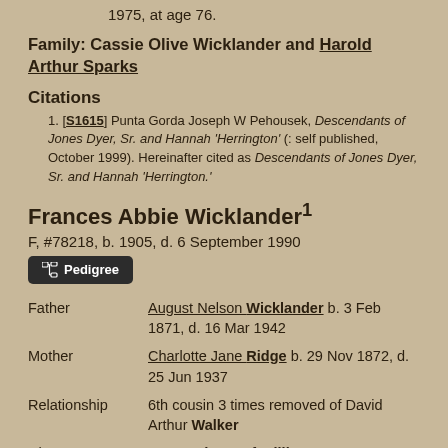1975, at age 76.
Family: Cassie Olive Wicklander and Harold Arthur Sparks
Citations
[S1615] Punta Gorda Joseph W Pehousek, Descendants of Jones Dyer, Sr. and Hannah 'Herrington' (: self published, October 1999). Hereinafter cited as Descendants of Jones Dyer, Sr. and Hannah 'Herrington.'
Frances Abbie Wicklander¹
F, #78218, b. 1905, d. 6 September 1990
Pedigree
| Field | Value |
| --- | --- |
| Father | August Nelson Wicklander b. 3 Feb 1871, d. 16 Mar 1942 |
| Mother | Charlotte Jane Ridge b. 29 Nov 1872, d. 25 Jun 1937 |
| Relationship | 6th cousin 3 times removed of David Arthur Walker |
| Charts | Descendants of William Dyer & Mary |